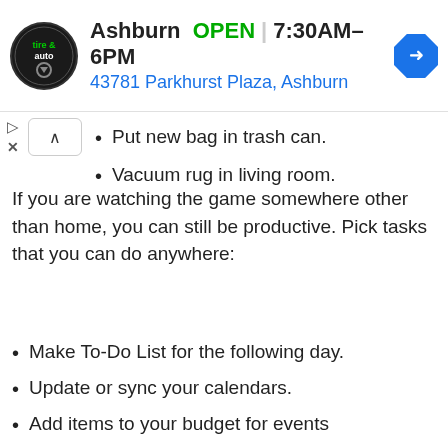[Figure (screenshot): Tire & Auto shop ad banner showing logo, Ashburn location, OPEN status, hours 7:30AM-6PM, address 43781 Parkhurst Plaza Ashburn, and navigation arrow icon]
Put new bag in trash can.
Vacuum rug in living room.
If you are watching the game somewhere other than home, you can still be productive. Pick tasks that you can do anywhere:
Make To-Do List for the following day.
Update or sync your calendars.
Add items to your budget for events